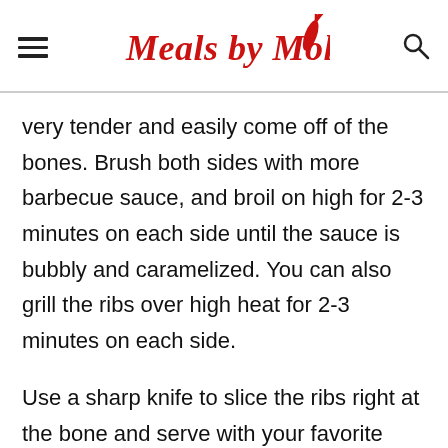Meals by Molly
very tender and easily come off of the bones. Brush both sides with more barbecue sauce, and broil on high for 2-3 minutes on each side until the sauce is bubbly and caramelized. You can also grill the ribs over high heat for 2-3 minutes on each side.
Use a sharp knife to slice the ribs right at the bone and serve with your favorite